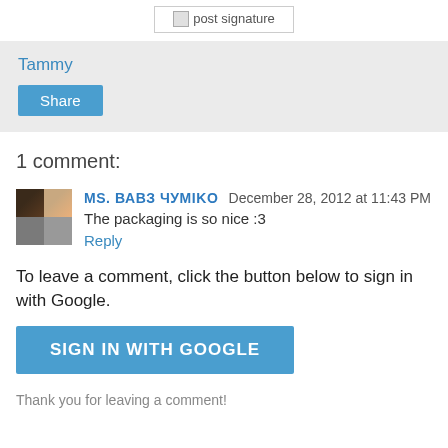[Figure (other): Post signature image placeholder]
Tammy
Share
1 comment:
MS. ВАВЗ ЧУМIKO   December 28, 2012 at 11:43 PM
The packaging is so nice :3
Reply
To leave a comment, click the button below to sign in with Google.
SIGN IN WITH GOOGLE
Thank you for leaving a comment!